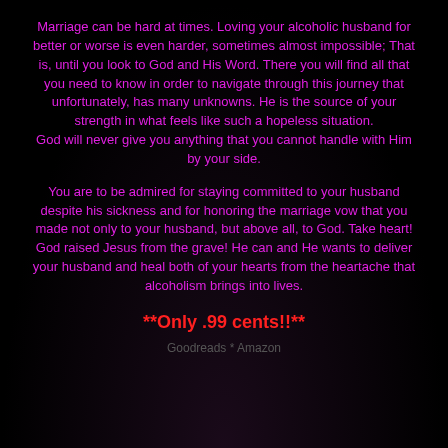Marriage can be hard at times. Loving your alcoholic husband for better or worse is even harder, sometimes almost impossible; That is, until you look to God and His Word. There you will find all that you need to know in order to navigate through this journey that unfortunately, has many unknowns. He is the source of your strength in what feels like such a hopeless situation.
God will never give you anything that you cannot handle with Him by your side.
You are to be admired for staying committed to your husband despite his sickness and for honoring the marriage vow that you made not only to your husband, but above all, to God. Take heart! God raised Jesus from the grave! He can and He wants to deliver your husband and heal both of your hearts from the heartache that alcoholism brings into lives.
**Only .99 cents!!**
Goodreads * Amazon